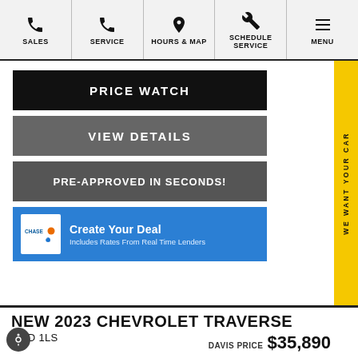SALES | SERVICE | HOURS & MAP | SCHEDULE SERVICE | MENU
PRICE WATCH
VIEW DETAILS
PRE-APPROVED IN SECONDS!
Create Your Deal
Includes Rates From Real Time Lenders
NEW 2023 CHEVROLET TRAVERSE
FWD 1LS
DAVIS PRICE $35,890